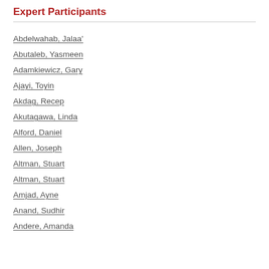Expert Participants
Abdelwahab, Jalaa'
Abutaleb, Yasmeen
Adamkiewicz, Gary
Ajayi, Toyin
Akdag, Recep
Akutagawa, Linda
Alford, Daniel
Allen, Joseph
Altman, Stuart
Altman, Stuart
Amjad, Ayne
Anand, Sudhir
Andere, Amanda